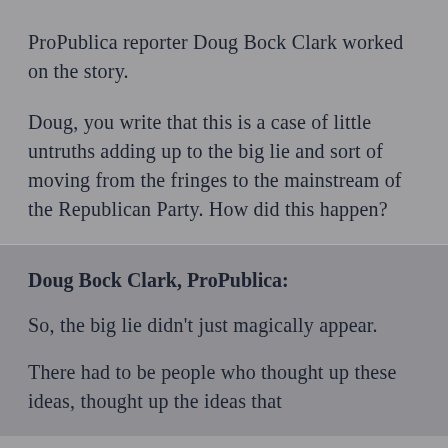ProPublica reporter Doug Bock Clark worked on the story.
Doug, you write that this is a case of little untruths adding up to the big lie and sort of moving from the fringes to the mainstream of the Republican Party. How did this happen?
Doug Bock Clark, ProPublica:
So, the big lie didn't just magically appear.
There had to be people who thought up these ideas, thought up the ideas that